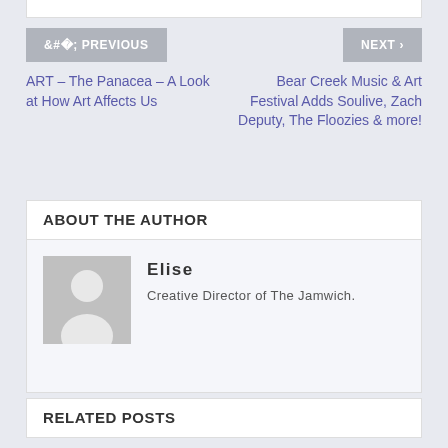< PREVIOUS
NEXT >
ART – The Panacea – A Look at How Art Affects Us
Bear Creek Music & Art Festival Adds Soulive, Zach Deputy, The Floozies & more!
ABOUT THE AUTHOR
[Figure (photo): Default avatar placeholder image showing silhouette of a person on grey background]
Elise
Creative Director of The Jamwich.
RELATED POSTS